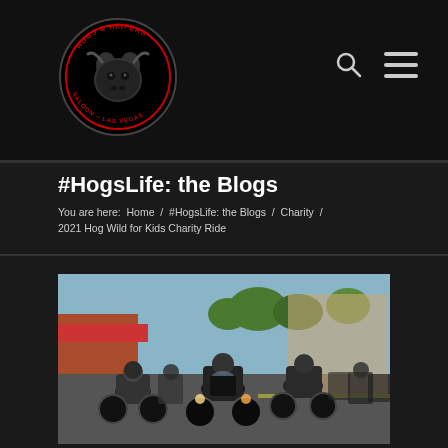Hogs & Heifers Saloon Las Vegas
#HogsLife: the Blogs
You are here:  Home  /  #HogsLife: the Blogs  /  Charity  /  2021 Hog Wild for Kids Charity Ride
[Figure (photo): A large group of motorcycle riders on Harley-Davidson motorcycles riding down a city street, with buildings and trees visible in the background. Riders are wearing helmets and casual clothing. The photo appears to be taken at a charity ride event.]